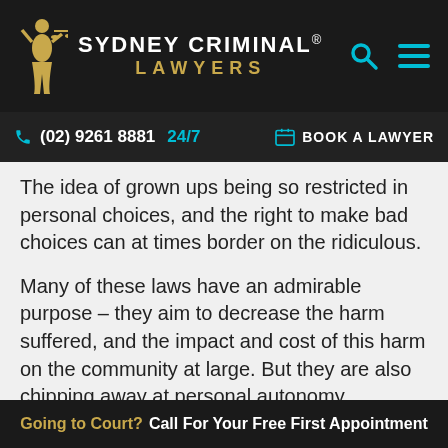[Figure (logo): Sydney Criminal Lawyers logo with gold figure and white/gold text on dark background, with search and menu icons]
(02) 9261 8881 24/7   BOOK A LAWYER
The idea of grown ups being so restricted in personal choices, and the right to make bad choices can at times border on the ridiculous.
Many of these laws have an admirable purpose – they aim to decrease the harm suffered, and the impact and cost of this harm on the community at large. But they are also chipping away at personal autonomy.
If surveillance cameras were introduced into every single room in every single home across Australia, there is no doubt domestic violence would go down,
Going to Court? Call For Your Free First Appointment